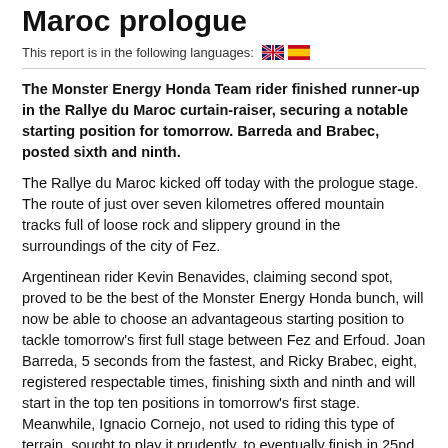Maroc prologue
This report is in the following languages: 🇬🇧 🇪🇸
The Monster Energy Honda Team rider finished runner-up in the Rallye du Maroc curtain-raiser, securing a notable starting position for tomorrow. Barreda and Brabec, posted sixth and ninth.
The Rallye du Maroc kicked off today with the prologue stage. The route of just over seven kilometres offered mountain tracks full of loose rock and slippery ground in the surroundings of the city of Fez.
Argentinean rider Kevin Benavides, claiming second spot, proved to be the best of the Monster Energy Honda bunch, will now be able to choose an advantageous starting position to tackle tomorrow's first full stage between Fez and Erfoud. Joan Barreda, 5 seconds from the fastest, and Ricky Brabec, eight, registered respectable times, finishing sixth and ninth and will start in the top ten positions in tomorrow's first stage. Meanwhile, Ignacio Cornejo, not used to riding this type of terrain, sought to play it prudently, to eventually finish in 25nd place. South African rider Aaron Mare...